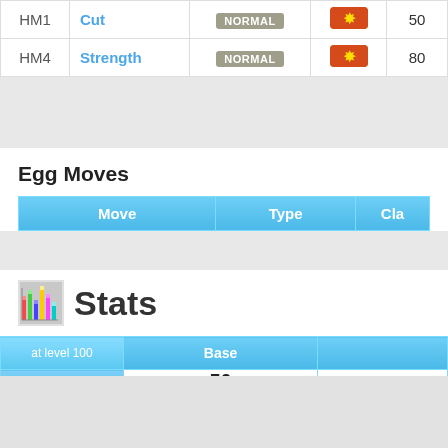|  | Move | Type | Class | Power |
| --- | --- | --- | --- | --- |
| HM1 | Cut | NORMAL |  | 50 |
| HM4 | Strength | NORMAL |  | 80 |
Egg Moves
| Move | Type | Cla... |
| --- | --- | --- |
Stats
| at level 100 | Base |  |
| --- | --- | --- |
| HP | 50 |  |
| Attack | 150 |  |
| Defense | 50 |  |
| Sp. Attack | 150 |  |